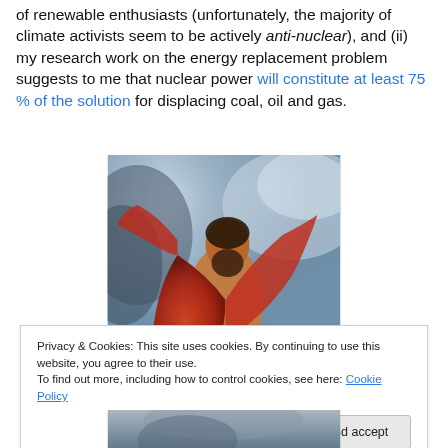of renewable enthusiasts (unfortunately, the majority of climate activists seem to be actively anti-nuclear), and (ii) my research work on the energy replacement problem suggests to me that nuclear power will constitute at least 75 % of the solution for displacing coal, oil and gas.
[Figure (photo): Classical oil painting of a bearded man in a red robe, wind-blown, against a stormy sky background — possibly depicting a mythological or religious figure.]
Privacy & Cookies: This site uses cookies. By continuing to use this website, you agree to their use.
To find out more, including how to control cookies, see here: Cookie Policy
Close and accept
[Figure (photo): Bottom portion of another classical painting, partially visible.]